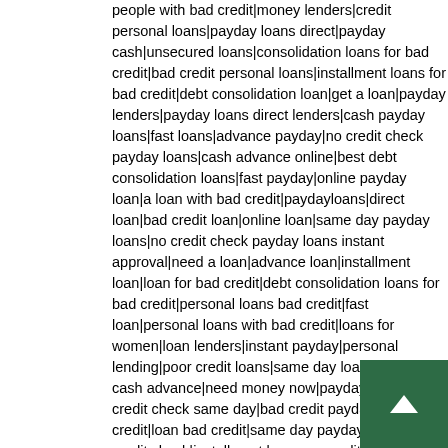people with bad credit|money lenders|credit personal loans|payday loans direct|payday cash|unsecured loans|consolidation loans for bad credit|bad credit personal loans|installment loans for bad credit|debt consolidation loan|get a loan|payday lenders|payday loans direct lenders|cash payday loans|fast loans|advance payday|no credit check payday loans|cash advance online|best debt consolidation loans|fast payday|online payday loan|a loan with bad credit|paydayloans|direct loan|bad credit loan|online loan|same day payday loans|no credit check payday loans instant approval|need a loan|advance loan|installment loan|loan for bad credit|debt consolidation loans for bad credit|personal loans bad credit|fast loan|personal loans with bad credit|loans for women|loan lenders|instant payday|personal lending|poor credit loans|same day loans|payday cash advance|need money now|payday loans no credit check same day|bad credit payday|loan no credit|loan bad credit|same day payday loans no credit check|installment loans no credit|a payday loan|online payday loans instant approval|payday loan online|cash payday loans online|personal loans for people with bad credit|no fax payday loan|loan no credit check|quick money|easy payday|pay day loan|quick cash loans|direct lending|emergency loans|lenders for bad credit|advance payday loan|fast cash loans|easy loans|loan money|best personal loan|secured loans|payday loan lenders|low interest personal loans|cash advance payday loan|loans with low interest|cash loan online|loans with low interest rates|installment loans online|online